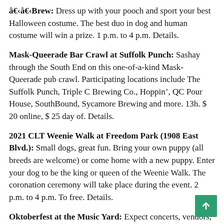â€‹â€‹Brew: Dress up with your pooch and sport your best Halloween costume. The best duo in dog and human costume will win a prize. 1 p.m. to 4 p.m. Details.
Mask-Queerade Bar Crawl at Suffolk Punch: Sashay through the South End on this one-of-a-kind Mask-Queerade pub crawl. Participating locations include The Suffolk Punch, Triple C Brewing Co., Hoppin', QC Pour House, SouthBound, Sycamore Brewing and more. 13h. $ 20 online, $ 25 day of. Details.
2021 CLT Weenie Walk at Freedom Park (1908 East Blvd.): Small dogs, great fun. Bring your own puppy (all breeds are welcome) or come home with a new puppy. Enter your dog to be the king or queen of the Weenie Walk. The coronation ceremony will take place during the event. 2 p.m. to 4 p.m. To free. Details.
Oktoberfest at the Music Yard: Expect concerts, vendors, pumpkin carvings, contests and more. 3 p.m. $ 5. Details.
The Bohemian Spiritual Picnic at Freedom Park: Enjoy an